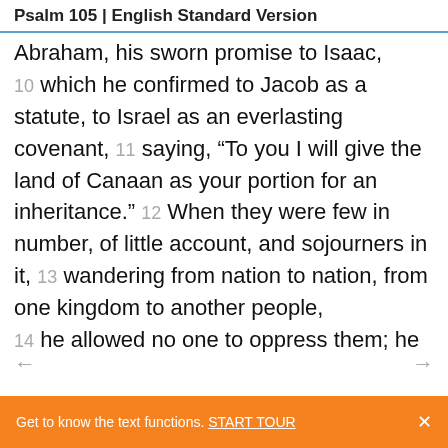Psalm 105 | English Standard Version
Abraham, his sworn promise to Isaac, 10 which he confirmed to Jacob as a statute, to Israel as an everlasting covenant, 11 saying, “To you I will give the land of Canaan as your portion for an inheritance.” 12 When they were few in number, of little account, and sojourners in it, 13 wandering from nation to nation, from one kingdom to another people, 14 he allowed no one to oppress them; he
Get to know the text functions. START TOUR ×